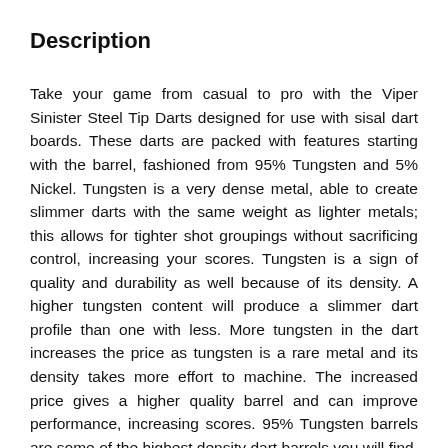Description
Take your game from casual to pro with the Viper Sinister Steel Tip Darts designed for use with sisal dart boards. These darts are packed with features starting with the barrel, fashioned from 95% Tungsten and 5% Nickel. Tungsten is a very dense metal, able to create slimmer darts with the same weight as lighter metals; this allows for tighter shot groupings without sacrificing control, increasing your scores. Tungsten is a sign of quality and durability as well because of its density. A higher tungsten content will produce a slimmer dart profile than one with less. More tungsten in the dart increases the price as tungsten is a rare metal and its density takes more effort to machine. The increased price gives a higher quality barrel and can improve performance, increasing scores. 95% Tungsten barrels are some of the highest density dart barrels you will find, allowing the slimmest profile dart available. The Sinister Darts feature tough, 100-micron flights. The extra hardiness these flights feature means that you won't need to replace them as often – they'll stand up to the toughest throws. Each dart is precision machined for maximum aerodynamics and a sleek, smooth look. Finally, each set includes six high speed...